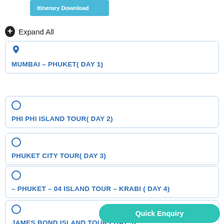[Figure (other): Itinerary Download button (cyan/teal)]
Expand All
MUMBAI – PHUKET( DAY 1)
PHI PHI ISLAND TOUR( DAY 2)
PHUKET CITY TOUR( DAY 3)
– PHUKET – 04 ISLAND TOUR – KRABI ( DAY 4)
JAMES BOND ISLAND TOUR ( DAY 5)
KRABI – HOMEBOUND DE…
[Figure (other): Quick Enquiry button (teal)]